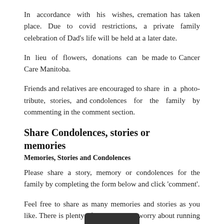In accordance with his wishes, cremation has taken place. Due to covid restrictions, a private family celebration of Dad's life will be held at a later date.
In lieu of flowers, donations can be made to Cancer Care Manitoba.
Friends and relatives are encouraged to share in a photo-tribute, stories, and condolences for the family by commenting in the comment section.
Share Condolences, stories or memories
Memories, Stories and Condolences
Please share a story, memory or condolences for the family by completing the form below and click 'comment'.
Feel free to share as many memories and stories as you like. There is plenty of room so don't worry about running out of space. All mess approved by our